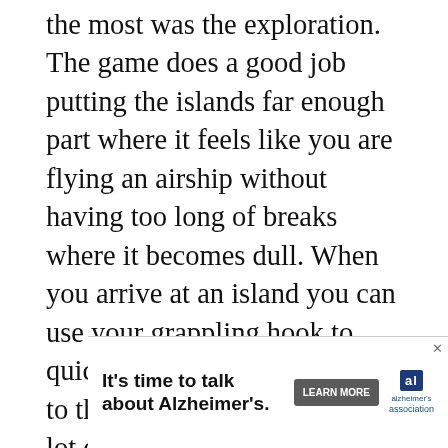the most was the exploration. The game does a good job putting the islands far enough part where it feels like you are flying an airship without having too long of breaks where it becomes dull. When you arrive at an island you can use your grappling hook to quickly move from your ship to the island and vice versa. A lot of games utilize a capturing territory mechanic these days, but it is still really satisfying. Besides growing your territory, each new location you libe... you to unlock more abilities which will help yo... of the w...
[Figure (other): Advertisement banner for Alzheimer's Association: 'It's time to talk about Alzheimer's.' with a LEARN MORE button and the Alzheimer's Association logo with AL branding and close button]